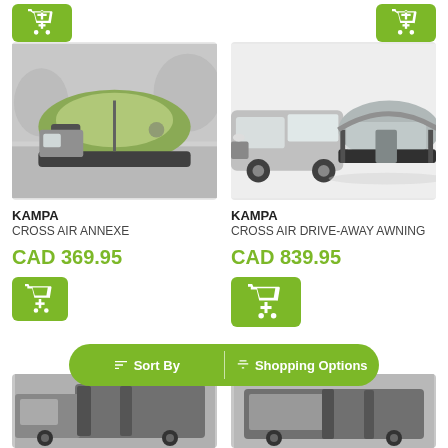[Figure (screenshot): Two partial green add-to-cart buttons at top]
[Figure (photo): Kampa Cross Air Annexe tent attached to a vehicle, gray/green color, outdoor setting]
KAMPA
CROSS AIR ANNEXE
CAD 369.95
[Figure (photo): Kampa Cross Air Drive-Away Awning attached to a VW Transporter van, light gray inflatable awning]
KAMPA
CROSS AIR DRIVE-AWAY AWNING
CAD 839.95
Sort By
Shopping Options
[Figure (photo): Partial view of two campervan awning products at the bottom of the page, dark gray]